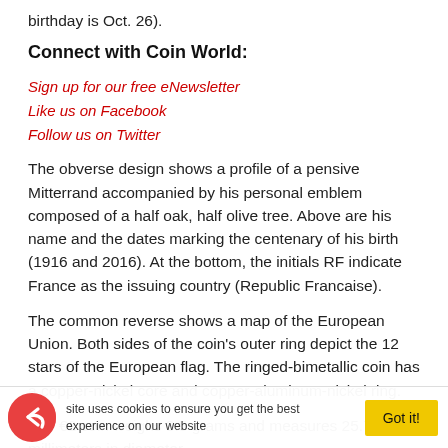birthday is Oct. 26).
Connect with Coin World:
Sign up for our free eNewsletter
Like us on Facebook
Follow us on Twitter
The obverse design shows a profile of a pensive Mitterrand accompanied by his personal emblem composed of a half oak, half olive tree. Above are his name and the dates marking the centenary of his birth (1916 and 2016). At the bottom, the initials RF indicate France as the issuing country (Republic Francaise).
The common reverse shows a map of the European Union. Both sides of the coin's outer ring depict the 12 stars of the European flag. The ringed-bimetallic coin has a copper-nickel core and copper-aluminum-nickel ring.
The €2 coin weighs 8.5 grams and measures 25.75 millimeters in diameter.
This site uses cookies to ensure you get the best experience on our website